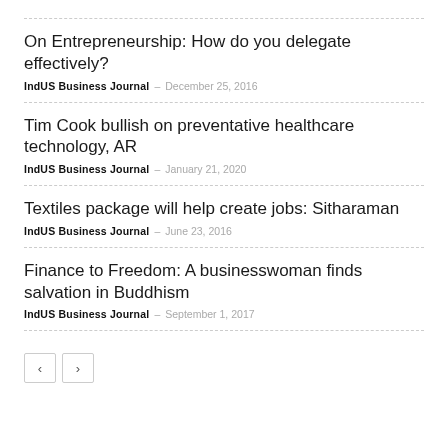On Entrepreneurship: How do you delegate effectively?
IndUS Business Journal – December 25, 2016
Tim Cook bullish on preventative healthcare technology, AR
IndUS Business Journal – January 21, 2020
Textiles package will help create jobs: Sitharaman
IndUS Business Journal – June 23, 2016
Finance to Freedom: A businesswoman finds salvation in Buddhism
IndUS Business Journal – September 1, 2017